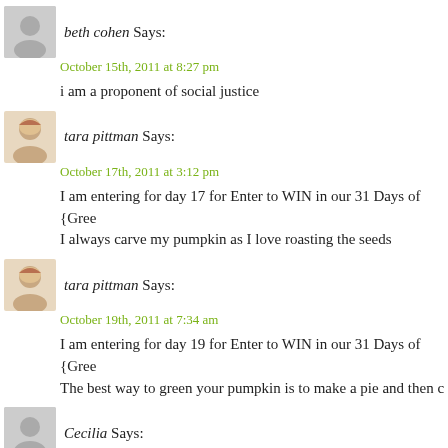beth cohen Says:
October 15th, 2011 at 8:27 pm
i am a proponent of social justice
tara pittman Says:
October 17th, 2011 at 3:12 pm
I am entering for day 17 for Enter to WIN in our 31 Days of {Gree
I always carve my pumpkin as I love roasting the seeds
tara pittman Says:
October 19th, 2011 at 7:34 am
I am entering for day 19 for Enter to WIN in our 31 Days of {Gree
The best way to green your pumpkin is to make a pie and then c
Cecilia Says:
October 19th, 2011 at 9:07 am
Great Ideas!
LAWANDA CARTER Says:
October 21st, 2011 at 1:07 pm
Love it!